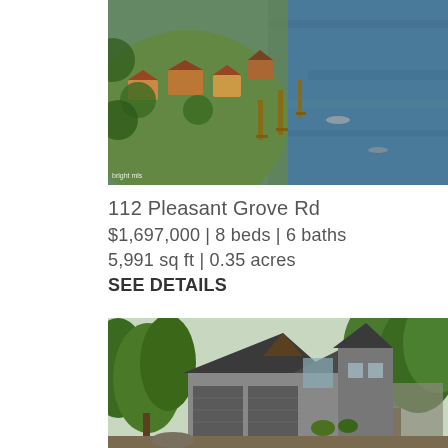[Figure (photo): Aerial view of waterfront neighborhood with houses, green lawns, docks, and a dark blue river]
112 Pleasant Grove Rd
$1,697,000  |  8 beds  |  6 baths
5,991 sq ft  |  0.35 acres
SEE DETAILS
[Figure (photo): Exterior photo of a large modern home with dark gray roof, multi-car garage, surrounded by mature green trees, with a paved driveway in front]